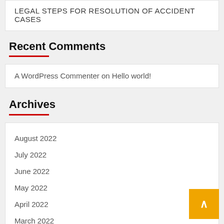LEGAL STEPS FOR RESOLUTION OF ACCIDENT CASES
Recent Comments
A WordPress Commenter on Hello world!
Archives
August 2022
July 2022
June 2022
May 2022
April 2022
March 2022